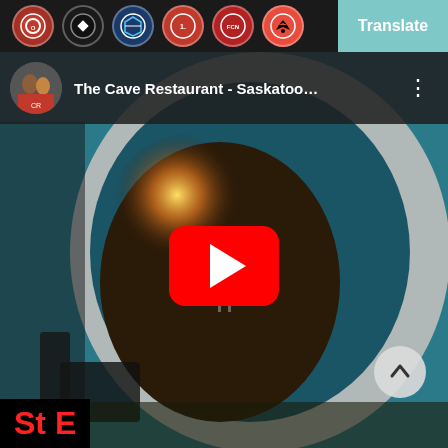[Figure (screenshot): Screenshot of a mobile browser showing a YouTube video embed of 'The Cave Restaurant - Saskatoo...' with football club icons in the top navigation bar, a Translate button in the top right, a YouTube play button overlay on the video thumbnail showing a cave-like restaurant interior with circular arch and warm lighting, a scroll-up arrow button at bottom right, and partial text 'St E' in red at the bottom left.]